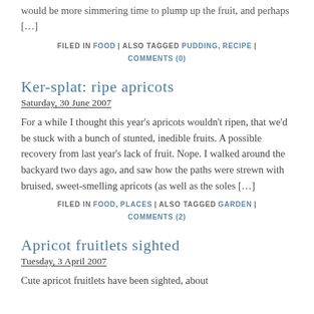would be more simmering time to plump up the fruit, and perhaps […]
FILED IN FOOD | ALSO TAGGED PUDDING, RECIPE | COMMENTS (0)
Ker-splat: ripe apricots
Saturday, 30 June 2007
For a while I thought this year's apricots wouldn't ripen, that we'd be stuck with a bunch of stunted, inedible fruits. A possible recovery from last year's lack of fruit. Nope. I walked around the backyard two days ago, and saw how the paths were strewn with bruised, sweet-smelling apricots (as well as the soles […]
FILED IN FOOD, PLACES | ALSO TAGGED GARDEN | COMMENTS (2)
Apricot fruitlets sighted
Tuesday, 3 April 2007
Cute apricot fruitlets have been sighted, about